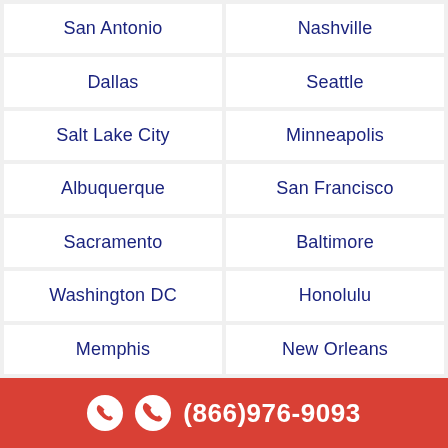| San Antonio | Nashville |
| Dallas | Seattle |
| Salt Lake City | Minneapolis |
| Albuquerque | San Francisco |
| Sacramento | Baltimore |
| Washington DC | Honolulu |
| Memphis | New Orleans |
(866)976-9093